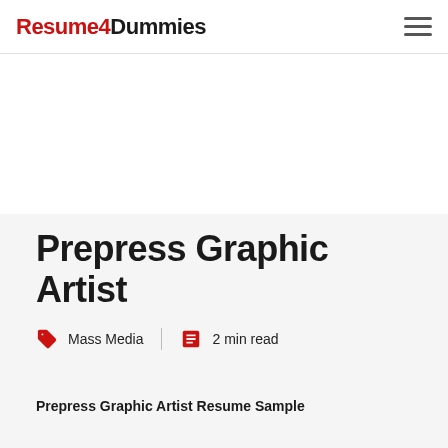Resume4Dummies
Prepress Graphic Artist
Mass Media  |  2 min read
Prepress Graphic Artist Resume Sample